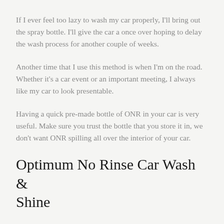If I ever feel too lazy to wash my car properly, I'll bring out the spray bottle. I'll give the car a once over hoping to delay the wash process for another couple of weeks.
Another time that I use this method is when I'm on the road. Whether it's a car event or an important meeting, I always like my car to look presentable.
Having a quick pre-made bottle of ONR in your car is very useful. Make sure you trust the bottle that you store it in, we don't want ONR spilling all over the interior of your car.
Optimum No Rinse Car Wash & Shine